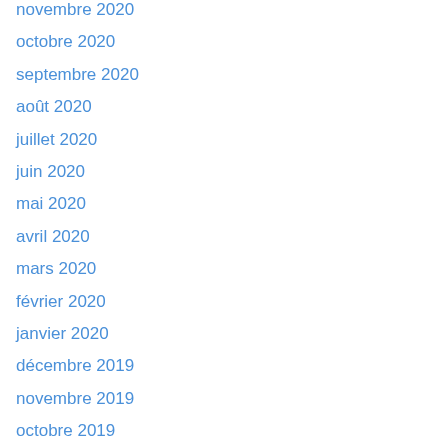novembre 2020
octobre 2020
septembre 2020
août 2020
juillet 2020
juin 2020
mai 2020
avril 2020
mars 2020
février 2020
janvier 2020
décembre 2019
novembre 2019
octobre 2019